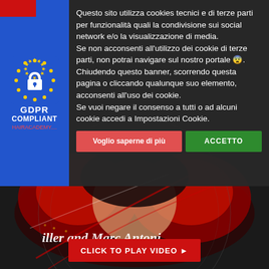[Figure (screenshot): GDPR Compliant badge with EU stars ring and padlock icon on blue background, labeled 'GDPR COMPLIANT' and 'HAIRACADEMY...']
Questo sito utilizza cookies tecnici e di terze parti per funzionalità quali la condivisione sui social network e/o la visualizzazione di media. Se non acconsenti all'utilizzo dei cookie di terze parti, non potrai navigare sul nostro portale 😢. Chiudendo questo banner, scorrendo questa pagina o cliccando qualunque suo elemento, acconsenti all'uso dei cookie. Se vuoi negare il consenso a tutti o ad alcuni cookie accedi a Impostazioni Cookie.
[Figure (screenshot): Two buttons: red 'Voglio saperne di più' and green 'ACCETTO']
[Figure (photo): Woman with bright red hair, partial face visible, with text 'iller and Marc Antoni' in italic on dark background]
CLICK TO PLAY VIDEO ▶